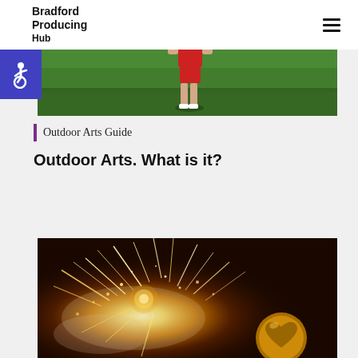Bradford Producing Hub
[Figure (photo): Person standing on a green grass field wearing red shorts, viewed from behind, with bright sunshine]
[Figure (illustration): Accessibility wheelchair symbol icon in white on blue background]
Outdoor Arts Guide
Outdoor Arts. What is it?
[Figure (photo): Nighttime outdoor arts performance with bright golden sparks and pyrotechnics, with a golden heart emblem visible in the lower right]